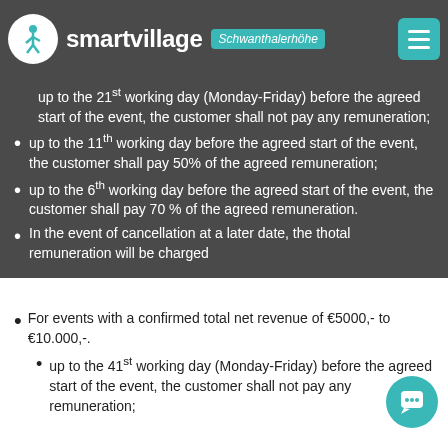smartvillage Schwanthalerhöhe
up to the 21st working day (Monday-Friday) before the agreed start of the event, the customer shall not pay any remuneration;
up to the 11th working day before the agreed start of the event, the customer shall pay 50% of the agreed remuneration;
up to the 6th working day before the agreed start of the event, the customer shall pay 70 % of the agreed remuneration.
In the event of cancellation at a later date, the thotal remuneration will be charged
For events with a confirmed total net revenue of €5000,- to €10.000,-.
up to the 41st working day (Monday-Friday) before the agreed start of the event, the customer shall not pay any remuneration;